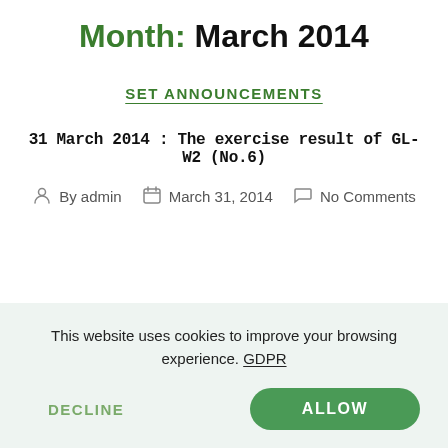Month: March 2014
SET ANNOUNCEMENTS
31 March 2014 : The exercise result of GL-W2 (No.6)
By admin  March 31, 2014  No Comments
This website uses cookies to improve your browsing experience. GDPR
DECLINE   ALLOW